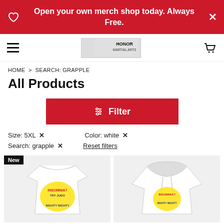Open your own merch shop today. Always Free.
[Figure (logo): Honor Martial Arts store logo with navigation hamburger menu and shopping cart icon]
HOME > SEARCH: GRAPPLE
All Products
Filter
Size: 5XL ×
Color: white ×
Search: grapple ×
Reset filters
[Figure (photo): White t-shirt with Insomnia? Try Judo Nighty Night graphic design featuring a judo throw illustration]
[Figure (photo): White hoodie with Insomnia? Nighty Night graphic design featuring a grappling illustration]